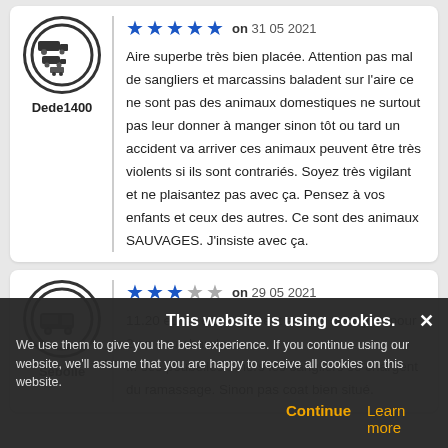[Figure (illustration): Avatar icon showing trucks/vehicles in a circle for user Dede1400]
Dede1400
★★★★★ on 31 05 2021
Aire superbe très bien placée. Attention pas mal de sangliers et marcassins baladent sur l'aire ce ne sont pas des animaux domestiques ne surtout pas leur donner à manger sinon tôt ou tard un accident va arriver ces animaux peuvent être très violents si ils sont contrariés. Soyez très vigilant et ne plaisantez pas avec ça. Pensez à vos enfants et ceux des autres. Ce sont des animaux SAUVAGES. J'insiste avec ça.
[Figure (illustration): Avatar icon showing a van/vehicle in a circle for user Seboile]
Seboile
★★★☆☆ on 29 05 2021
11.20 euros emplacement et taxe de séjour pour 2 en ...eau chaude... ses poubelles ...hors les sangliers se chargent du ramassage. Sinon pas coat bien situé.
This website is using cookies. We use them to give you the best experience. If you continue using our website, we'll assume that you are happy to receive all cookies on this website. Continue   Learn more